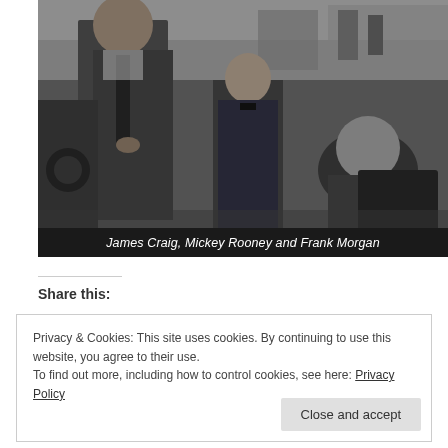[Figure (photo): Black and white film still showing three figures in what appears to be an industrial or workshop setting. One figure on the left in a suit, a young boy in the center in a military-style uniform, and an older person on the right.]
James Craig, Mickey Rooney and Frank Morgan
Share this:
Privacy & Cookies: This site uses cookies. By continuing to use this website, you agree to their use.
To find out more, including how to control cookies, see here: Privacy Policy